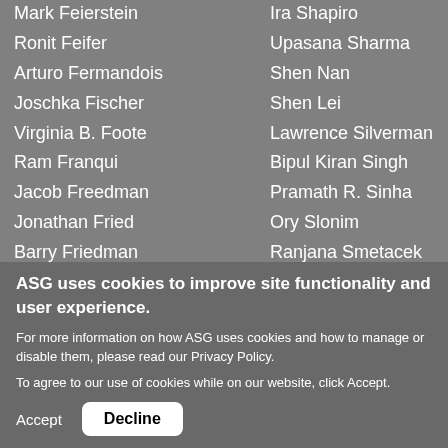Mark Feierstein
Ronit Feifer
Arturo Fermandois
Joschka Fischer
Virginia B. Foote
Ram Franqui
Jacob Freedman
Jonathan Fried
Barry Friedman
Alexander Gabuev
Jaime Gama
Ira Shapiro
Upasana Sharma
Shen Nan
Shen Lei
Lawrence Silverman
Bipul Kiran Singh
Pramath R. Sinha
Ory Slonim
Ranjana Smetacek
Ian Smith
ASG uses cookies to improve site functionality and user experience.
For more information on how ASG uses cookies and how to manage or disable them, please read our Privacy Policy.
To agree to our use of cookies while on our website, click Accept.
Accept   Decline